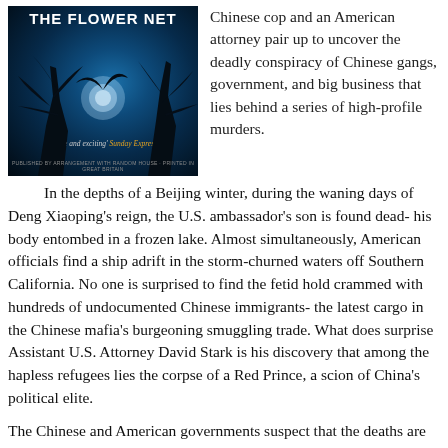[Figure (illustration): Book cover of 'The Flower Net' with dark background, blue moonlit scene with tree silhouettes, and tagline 'Tense and exciting' Sunday Express]
Chinese cop and an American attorney pair up to uncover the deadly conspiracy of Chinese gangs, government, and big business that lies behind a series of high-profile murders.
In the depths of a Beijing winter, during the waning days of Deng Xiaoping's reign, the U.S. ambassador's son is found dead- his body entombed in a frozen lake. Almost simultaneously, American officials find a ship adrift in the storm-churned waters off Southern California. No one is surprised to find the fetid hold crammed with hundreds of undocumented Chinese immigrants- the latest cargo in the Chinese mafia's burgeoning smuggling trade. What does surprise Assistant U.S. Attorney David Stark is his discovery that among the hapless refugees lies the corpse of a Red Prince, a scion of China's political elite.
The Chinese and American governments suspect that the deaths are connected, and in an unprecedented move they join forces to solve this cross-cultural crime. Stark heads for Beijing to team up with police detective Liu Hulan, whose unorthodox methods are tolerated only because of her spectacular